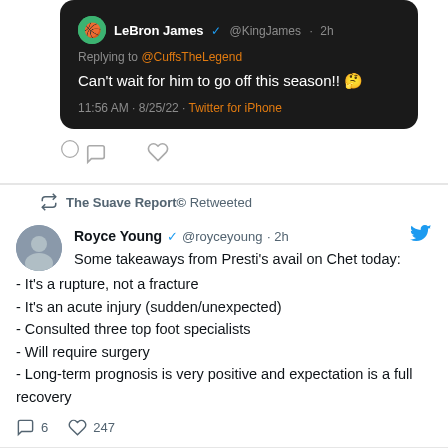[Figure (screenshot): Dark-mode tweet from LeBron James (@KingJames, 2h) replying to @CuffsTheLegend: 'Can't wait for him to go off this season!! 🤔' posted 11:56 AM · 8/25/22 · Twitter for iPhone]
LeBron James ✓ @KingJames · 2h
Replying to @CuffsTheLegend
Can't wait for him to go off this season!! 🤔
11:56 AM · 8/25/22 · Twitter for iPhone
The Suave Report© Retweeted
Royce Young ✓ @royceyoung · 2h
Some takeaways from Presti's avail on Chet today:
- It's a rupture, not a fracture
- It's an acute injury (sudden/unexpected)
- Consulted three top foot specialists
- Will require surgery
- Long-term prognosis is very positive and expectation is a full recovery
💬 6   ♡ 247